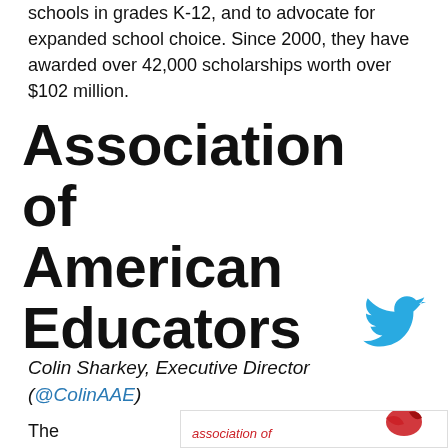schools in grades K-12, and to advocate for expanded school choice. Since 2000, they have awarded over 42,000 scholarships worth over $102 million.
Association of American Educators
[Figure (logo): Twitter bird icon in blue]
Colin Sharkey, Executive Director (@ColinAAE)
The Association of
[Figure (logo): Association of American Educators logo with red and dark blue design and text 'association of']